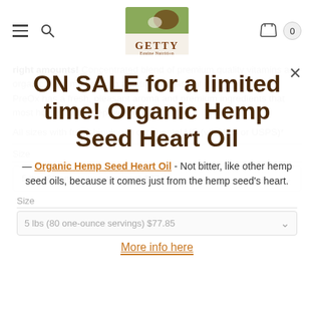Getty Equine Nutrition — navigation header with hamburger menu, search icon, logo, cart icon with count 0
right amounts! Concentrated blend of premium quality vitamins and organic trace minerals on a nutritious base of natural flaxseed. PreOx has a fresh, pleasant aroma and premium ingredients that most horses will accept willingly.
All sizes with free shipping in continental US (via UPS or USPS)*
[Figure (infographic): Modal popup overlay: ON SALE for a limited time! Organic Hemp Seed Heart Oil — with close button (X), link text 'Organic Hemp Seed Heart Oil', description 'Not bitter, like other hemp seed oils, because it comes just from the hemp seed's heart.', size selector '5 lbs (80 one-ounce servings) $77.85', and 'More info here' link]
Size
5 lbs (80 one-ounce servings) $77.85
More info here